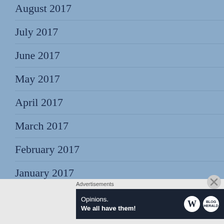August 2017
July 2017
June 2017
May 2017
April 2017
March 2017
February 2017
January 2017
Advertisements
[Figure (infographic): Advertisement banner reading 'Opinions. We all have them!' with WordPress and Blog.com logos on dark navy background.]